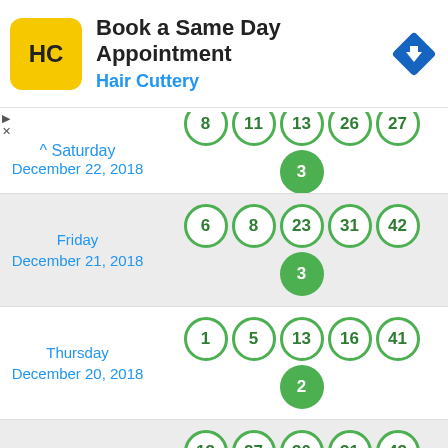[Figure (screenshot): Hair Cuttery advertisement banner - 'Book a Same Day Appointment' with HC logo and navigation arrow icon]
Saturday December 22, 2018 — balls: 8, 11, 13, 26, 27 | bonus: 3
Friday December 21, 2018 — balls: 6, 8, 23, 31, 42 | bonus: 3
Thursday December 20, 2018 — balls: 1, 5, 13, 16, 41 | bonus: 2
Wednesday December 19, 2018 — balls: 13, 27, 30, 31, 42 | bonus: 3